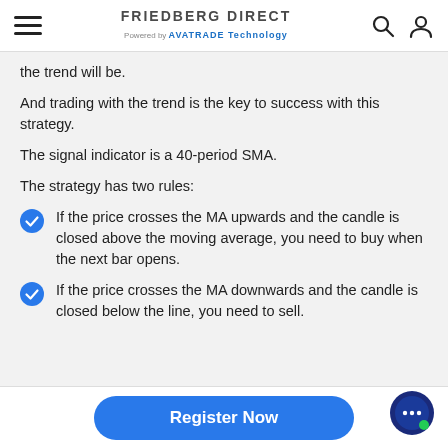FRIEDBERG DIRECT Powered by AVATRADE Technology
the trend will be.
And trading with the trend is the key to success with this strategy.
The signal indicator is a 40-period SMA.
The strategy has two rules:
If the price crosses the MA upwards and the candle is closed above the moving average, you need to buy when the next bar opens.
If the price crosses the MA downwards and the candle is closed below the line, you need to sell.
Register Now